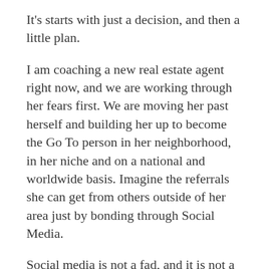It's starts with just a decision, and then a little plan.
I am coaching a new real estate agent right now, and we are working through her fears first. We are moving her past herself and building her up to become the Go To person in her neighborhood, in her niche and on a national and worldwide basis. Imagine the referrals she can get from others outside of her area just by bonding through Social Media.
Social media is not a fad, and it is not a mystery.
It's a systematic process of authenticity, starting conversations, sharing value and building relationships.
A f...